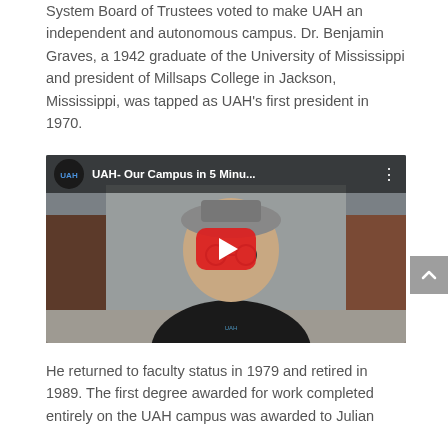System Board of Trustees voted to make UAH an independent and autonomous campus. Dr. Benjamin Graves, a 1942 graduate of the University of Mississippi and president of Millsaps College in Jackson, Mississippi, was tapped as UAH's first president in 1970.
[Figure (screenshot): Embedded YouTube video thumbnail showing a person wearing a UAH t-shirt and cap indoors, with a red play button overlay and title 'UAH- Our Campus in 5 Minu...' in the top bar.]
He returned to faculty status in 1979 and retired in 1989. The first degree awarded for work completed entirely on the UAH campus was awarded to Julian